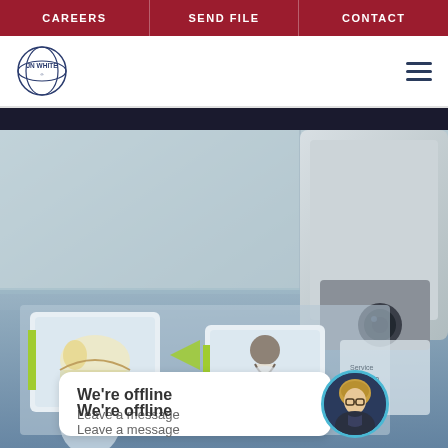CAREERS | SEND FILE | CONTACT
[Figure (logo): JN White company logo with circular blue line design]
[Figure (photo): Close-up photo of medical/diagnostic labels being printed by a machine. Labels show illustrated instructions for a medical procedure with figures demonstrating usage steps. Colors include light blue, green accent arrows, and white label backgrounds.]
We're offline
Leave a message